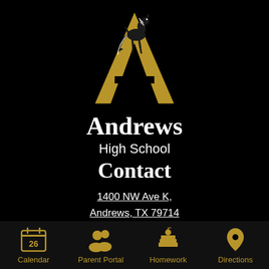[Figure (logo): Andrews High School logo: gold letter A with a black and white mustang horse rearing up over it, on black background]
Andrews
High School
Contact
1400 NW Ave K,
Andrews, TX 79714
Phone: (432) 524-1910
Follow Us
[Figure (infographic): Bottom navigation bar with four gold icons and labels: Calendar (calendar icon with 26), Parent Portal (people icon), Homework (books with apple icon), Directions (map pin icon)]